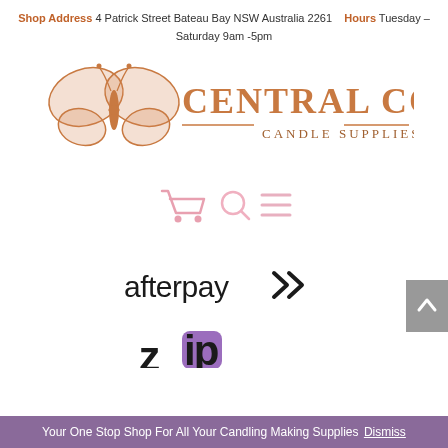Shop Address 4 Patrick Street Bateau Bay NSW Australia 2261    Hours Tuesday – Saturday 9am -5pm
[Figure (logo): Central Coast Candle Supplies logo with butterfly and ribbon icon in copper/rose gold tones]
[Figure (illustration): Navigation icons: shopping cart, search magnifier, and hamburger menu in pink]
[Figure (logo): Afterpay logo in black with chevron symbol]
[Figure (logo): Zip logo partially visible at bottom]
Your One Stop Shop For All Your Candling Making Supplies Dismiss